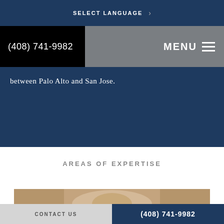SELECT LANGUAGE
(408) 741-9982
MENU
between Palo Alto and San Jose.
AREAS OF EXPERTISE
[Figure (photo): Partial view of a woman with blonde hair against a tan/beige background]
CONTACT US
(408) 741-9982